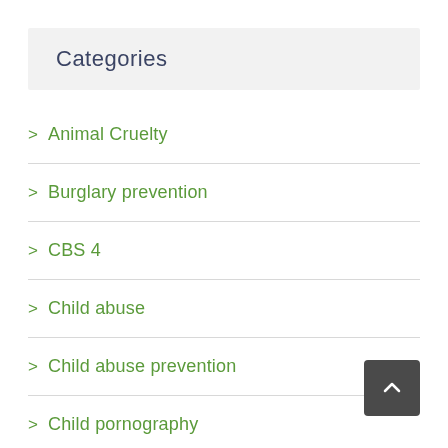Categories
Animal Cruelty
Burglary prevention
CBS 4
Child abuse
Child abuse prevention
Child pornography